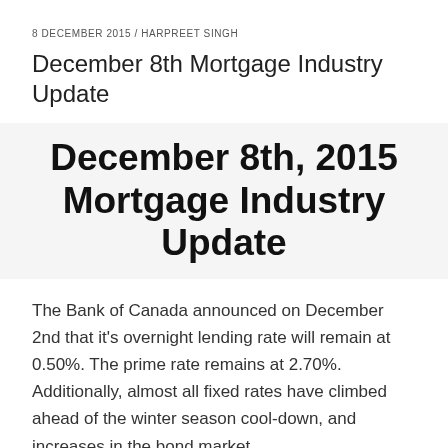8 DECEMBER 2015 / HARPREET SINGH
December 8th Mortgage Industry Update
December 8th, 2015 Mortgage Industry Update
The Bank of Canada announced on December 2nd that it's overnight lending rate will remain at 0.50%. The prime rate remains at 2.70%. Additionally, almost all fixed rates have climbed ahead of the winter season cool-down, and increases in the bond market.